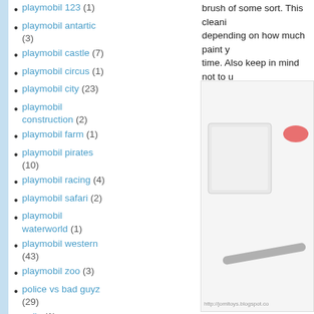playmobil 123 (1)
playmobil antartic (3)
playmobil castle (7)
playmobil circus (1)
playmobil city (23)
playmobil construction (2)
playmobil farm (1)
playmobil pirates (10)
playmobil racing (4)
playmobil safari (2)
playmobil waterworld (1)
playmobil western (43)
playmobil zoo (3)
police vs bad guyz (29)
polls (1)
power rangers (1)
premium figures (2)
prince of persia (1)
brush of some sort. This cleaning depending on how much paint you time. Also keep in mind not to us over the plastic. Take an action f (to which you can apply this tech etc. And THAT will come OFF!!!
[Figure (photo): Photo of a toothbrush and white box/container on a light background, with watermark http://jomitoys.blogspot.co]